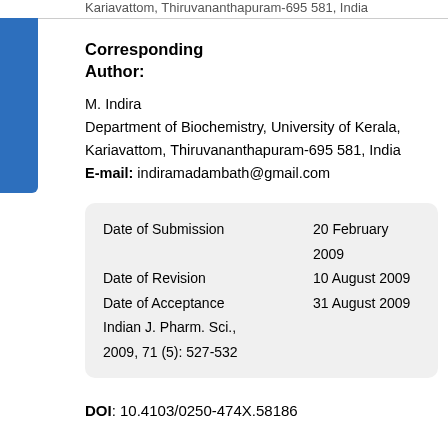Kariavattom, Thiruvananthapuram-695 581, India
Corresponding Author:
M. Indira
Department of Biochemistry, University of Kerala, Kariavattom, Thiruvananthapuram-695 581, India
E-mail: indiramadambath@gmail.com
| Date of Submission | 20 February 2009 |
| Date of Revision | 10 August 2009 |
| Date of Acceptance | 31 August 2009 |
| Indian J. Pharm. Sci., 2009, 71 (5): 527-532 |  |
DOI: 10.4103/0250-474X.58186
Abstract